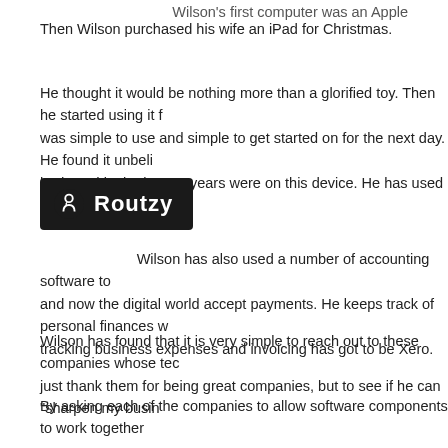Wilson's first computer was an Apple
Then Wilson purchased his wife an iPad for Christmas.
He thought it would be nothing more than a glorified toy. Then he started using it f... was simple to use and simple to get started on for the next day. He found it unbeli... had used in the last 20 years were on this device. He has used an iPad every day...
[Figure (logo): Routzy logo — white text and icon on black background]
Wilson has also used a number of accounting software to... and now the digital world accept payments. He keeps track of personal finances w... tracking business expenses and invoicing has got to be Xero.
Wilson has found that it is very simple to reach out to these companies whose tec... just thank them for being great companies, but to see if he can "sharpen my busin...
By asking each of the companies to allow software components to work together ...
He said that every company is not going to be willing to do this. He said to reach o... sharpen your owned for you is a logical step. This idea 10 years ago would simpl...